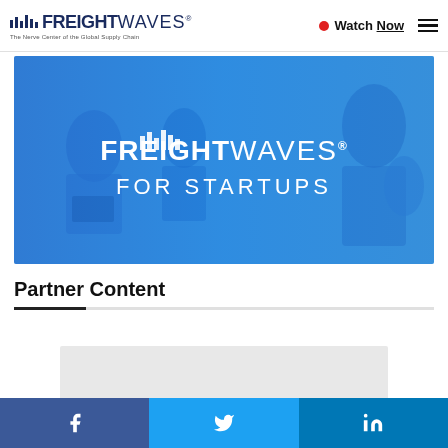FREIGHTWAVES — The Nerve Center of the Global Supply Chain | Watch Now | Menu
[Figure (illustration): FreightWaves For Startups promotional banner — blue gradient background with people working on laptops, overlaid with FreightWaves logo and text 'FOR STARTUPS']
Partner Content
[Figure (other): Gray placeholder content card]
Facebook | Twitter | LinkedIn social share buttons